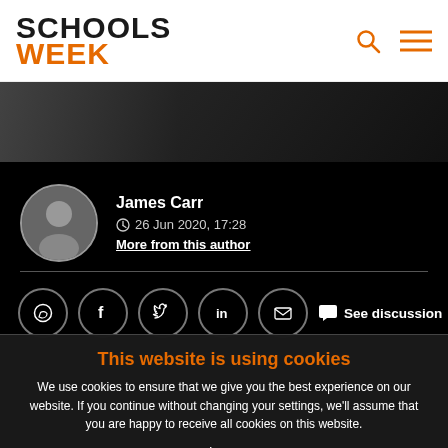SCHOOLS WEEK
[Figure (photo): Photo strip of people, partially visible at top of black section]
James Carr
26 Jun 2020, 17:28
More from this author
[Figure (infographic): Social share icons: WhatsApp, Facebook, Twitter, LinkedIn, Email. See discussion button.]
This website is using cookies
We use cookies to ensure that we give you the best experience on our website. If you continue without changing your settings, we'll assume that you are happy to receive all cookies on this website.
Accept | Learn More